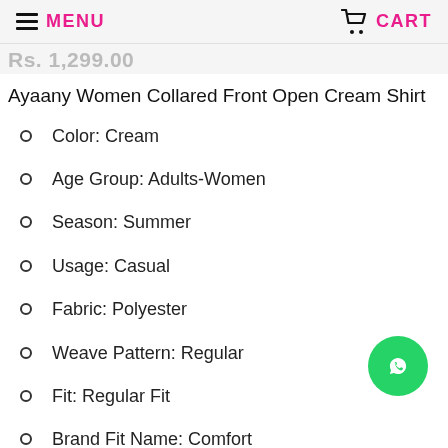MENU   CART
Rs. 1,299.00
Ayaany Women Collared Front Open Cream Shirt
Color: Cream
Age Group: Adults-Women
Season: Summer
Usage: Casual
Fabric: Polyester
Weave Pattern: Regular
Fit: Regular Fit
Brand Fit Name: Comfort
Length: Regular